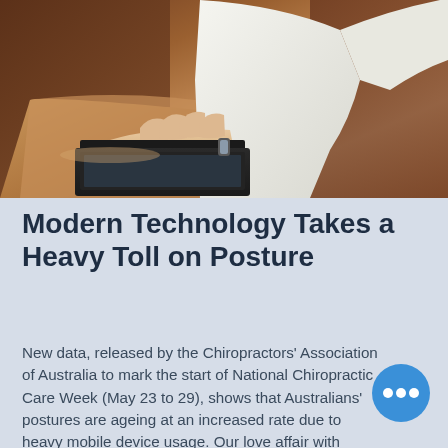[Figure (photo): Person sitting on a brown couch using a laptop computer, wearing a white shirt, viewed from the side. The laptop rests on the couch arm.]
Modern Technology Takes a Heavy Toll on Posture
New data, released by the Chiropractors' Association of Australia to mark the start of National Chiropractic Care Week (May 23 to 29), shows that Australians' postures are ageing at an increased rate due to heavy mobile device usage. Our love affair with portable electronic devices is causing growing health problems according to new